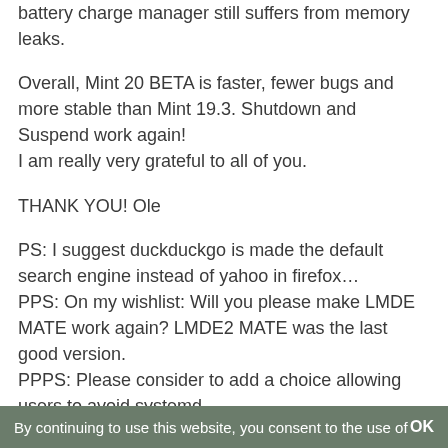battery charge manager still suffers from memory leaks.
Overall, Mint 20 BETA is faster, fewer bugs and more stable than Mint 19.3. Shutdown and Suspend work again!
I am really very grateful to all of you.
THANK YOU! Ole
PS: I suggest duckduckgo is made the default search engine instead of yahoo in firefox…
PPS: On my wishlist: Will you please make LMDE MATE work again? LMDE2 MATE was the last good version.
PPPS: Please consider to add a choice allowing users to avoid systemd
Reply
By continuing to use this website, you consent to the use of   OK